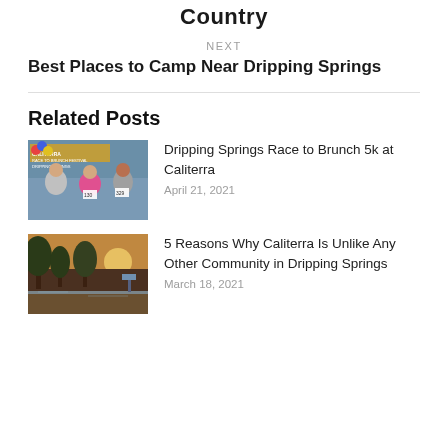Country
NEXT
Best Places to Camp Near Dripping Springs
Related Posts
[Figure (photo): Group of people at Caliterra Race to Brunch 5k event, wearing race bibs, smiling at camera with a banner in the background]
Dripping Springs Race to Brunch 5k at Caliterra
April 21, 2021
[Figure (photo): Outdoor scenic photo of trees and water near a community in Dripping Springs]
5 Reasons Why Caliterra Is Unlike Any Other Community in Dripping Springs
March 18, 2021